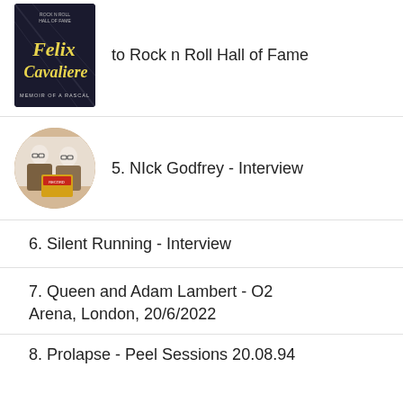[Figure (photo): Book cover for Felix Cavaliere Memoir of a Rascal, Rock n Roll Hall of Fame]
to Rock n Roll Hall of Fame
[Figure (photo): Circular photo of two people holding records/albums]
5. NIck Godfrey - Interview
6. Silent Running - Interview
7. Queen and Adam Lambert - O2 Arena, London, 20/6/2022
8. Prolapse - Peel Sessions 20.08.94